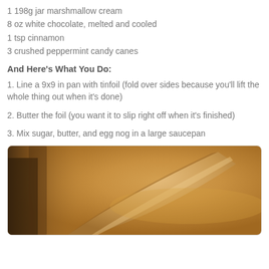1 198g jar marshmallow cream
8 oz white chocolate, melted and cooled
1 tsp cinnamon
3 crushed peppermint candy canes
And Here's What You Do:
1. Line a 9x9 in pan with tinfoil (fold over sides because you'll lift the whole thing out when it's done)
2. Butter the foil (you want it to slip right off when it's finished)
3. Mix sugar, butter, and egg nog in a large saucepan
[Figure (photo): Close-up photo of a wooden spoon stirring a golden-brown caramel or fudge mixture in a saucepan]